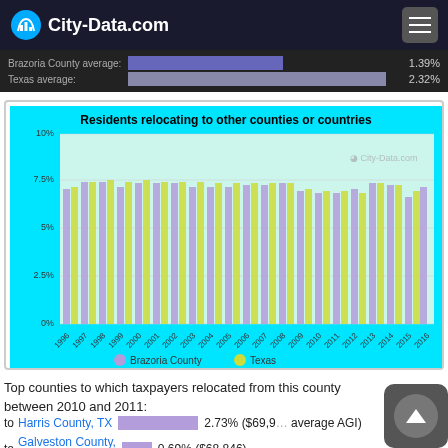City-Data.com
Brazoria County average: 1.39%
Texas average: 2.32%
[Figure (bar-chart): Residents relocating to other counties or countries]
Top counties to which taxpayers relocated from this county between 2010 and 2011:
to Harris County, TX   2.73% ($69,957 average AGI)
to Galveston County, TX   0.69% ($68,846)